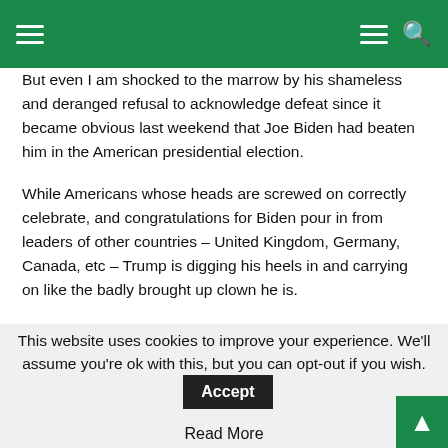Navigation bar with hamburger menu and search icon
But even I am shocked to the marrow by his shameless and deranged refusal to acknowledge defeat since it became obvious last weekend that Joe Biden had beaten him in the American presidential election.
While Americans whose heads are screwed on correctly celebrate, and congratulations for Biden pour in from leaders of other countries – United Kingdom, Germany, Canada, etc – Trump is digging his heels in and carrying on like the badly brought up clown he is.
There are two different levels on which American presidential candidates can be victorious: Either in terms of the straightforward popular vote or in terms of the complicated electoral college system.
In 2016, Trump only triumphed on the electoral college front because
This website uses cookies to improve your experience. We'll assume you're ok with this, but you can opt-out if you wish.
Read More